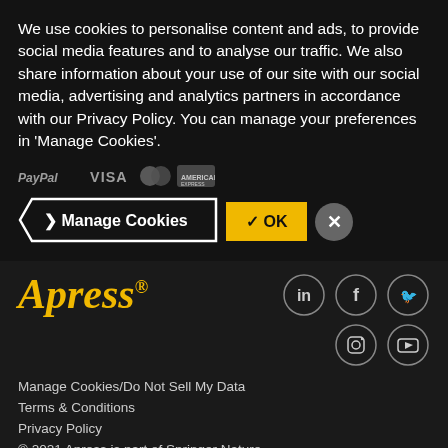We use cookies to personalise content and ads, to provide social media features and to analyse our traffic. We also share information about your use of our site with our social media, advertising and analytics partners in accordance with our Privacy Policy. You can manage your preferences in 'Manage Cookies'.
[Figure (other): Payment method icons: PayPal, VISA, Mastercard, American Express]
Manage Cookies | ✓ OK | ✕
[Figure (logo): Apress logo in gold italic with registered trademark symbol]
[Figure (other): Social media icons: LinkedIn, Facebook, Twitter, Instagram, YouTube]
Manage Cookies/Do Not Sell My Data
Terms & Conditions
Privacy Policy
© 2021 Apress is part of Springer Nature
California Privacy Statement ↗